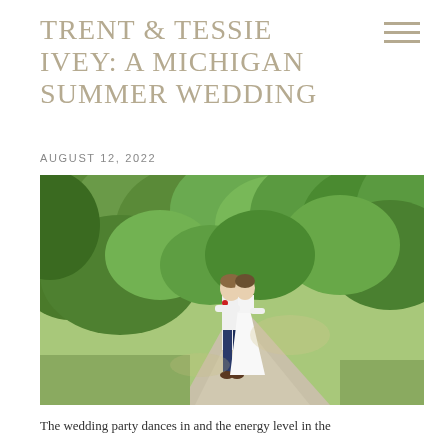TRENT & TESSIE IVEY: A MICHIGAN SUMMER WEDDING
AUGUST 12, 2022
[Figure (photo): A couple (bride in white dress and groom in white shirt and navy trousers) embracing on a path surrounded by lush green trees and foliage in summer.]
The wedding party dances in and the energy level in the